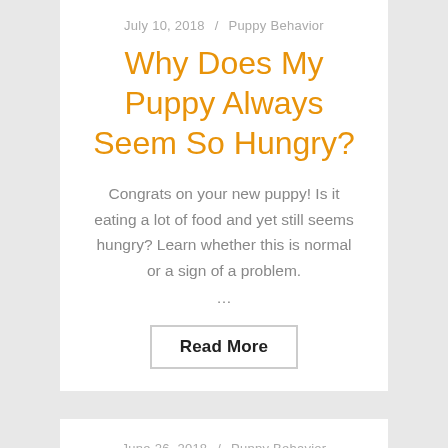July 10, 2018 / Puppy Behavior
Why Does My Puppy Always Seem So Hungry?
Congrats on your new puppy! Is it eating a lot of food and yet still seems hungry? Learn whether this is normal or a sign of a problem.
...
Read More
June 26, 2018 / Puppy Behavior
My Dog Gets Too Excited